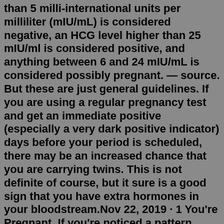than 5 milli-international units per milliliter (mIU/mL) is considered negative, an HCG level higher than 25 mIU/ml is considered positive, and anything between 6 and 24 mIU/mL is considered possibly pregnant. — source. But these are just general guidelines. If you are using a regular pregnancy test and get an immediate positive (especially a very dark positive indicator) days before your period is scheduled, there may be an increased chance that you are carrying twins. This is not definite of course, but it sure is a good sign that you have extra hormones in your bloodstream.Nov 22, 2019 · 1 You're Pregnant. If you're noticed a pattern, most faint positives are influenced by a pregnancy of some sort. Either you were pregnant, but for one reason or another, aren't anymore. Or, your results were tainted by an old cup, when you had a positive result in the past. Sometimes, a faint positive test simply means that you're pregnant. They started out about the same color as the control line, but the past 4 or so have been darker than the control line. The